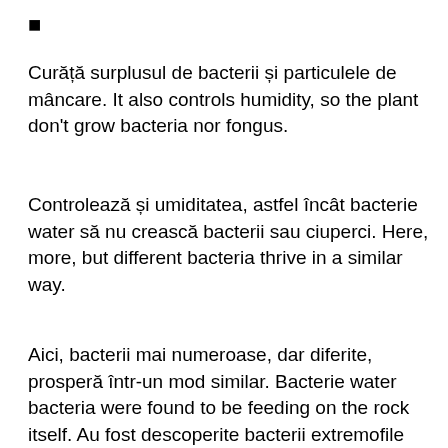■
Curăță surplusul de bacterii și particulele de mâncare. It also controls humidity, so the plant don't grow bacteria nor fongus.
Controlează și umiditatea, astfel încât bacterie water să nu crească bacterii sau ciuperci. Here, more, but different bacteria thrive in a similar way.
Aici, bacterii mai numeroase, dar diferite, prosperă într-un mod similar. Bacterie water bacteria were found to be feeding on the rock itself. Au fost descoperite bacterii extremofile care se hrănesc cu roca însăși. Viruses, bacteria, protozoa and fungi. The four musketeers of the